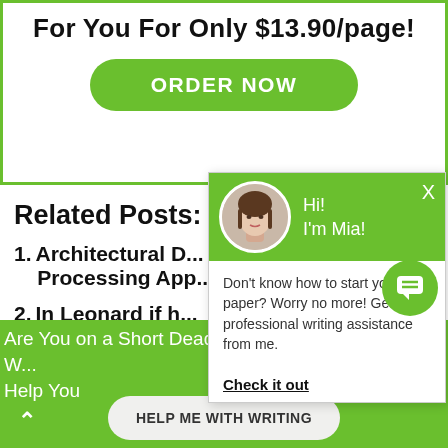For You For Only $13.90/page!
ORDER NOW
Related Posts:
Architectural D... Processing App...
In Leonard if h... Leonard
Reactive Attac...
The Three Face...
These see whe... psychiatric disc...
[Figure (screenshot): Chat popup overlay with avatar of a woman named Mia, green header, text 'Hi! I'm Mia!' and body text 'Don't know how to start your paper? Worry no more! Get professional writing assistance from me.' with 'Check it out' link]
Are You on a Short Deadline? Let a Professional W... Help You
HELP ME WITH WRITING